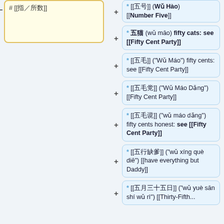# [[指／所数]]
* [[五号]] ("Wǔ Hào") [[Number Five]]
* 五猫 (wǔ māo) fifty cats: see [[Fifty Cent Party]]
* [[五毛]] ("Wǔ Máo") fifty cents: see [[Fifty Cent Party]]
* [[五毛党]] ("Wǔ Máo Dǎng") [[Fifty Cent Party]]
* [[五毛谠]] ("wǔ máo dǎng") fifty cents honest: see [[Fifty Cent Party]]
* [[五行缺爹]] ("wǔ xíng què diē") [[have everything but Daddy]]
* [[五月三十五日]] ("wǔ yuè sān shí wǔ rì") [[Thirty-Fifth...